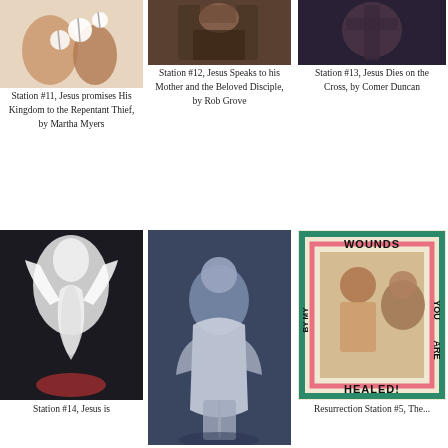[Figure (photo): Painting of hands with white flowers, Station #11]
Station #11, Jesus promises His Kingdom to the Repentant Thief, by Martha Myers
[Figure (photo): Photo of person with hands raised, Station #12]
Station #12, Jesus Speaks to his Mother and the Beloved Disciple, by Rob Grove
[Figure (photo): Painting of figure on cross, Station #13]
Station #13, Jesus Dies on the Cross, by Comer Duncan
[Figure (photo): Painting with white dove and figures, Station #14]
Station #14, Jesus is
[Figure (photo): Painting of robed figure seated on rocks]
[Figure (photo): Mixed media artwork with text WOUNDS BY MY ARE HEALED! Resurrection Station]
Resurrection Station #5, The...